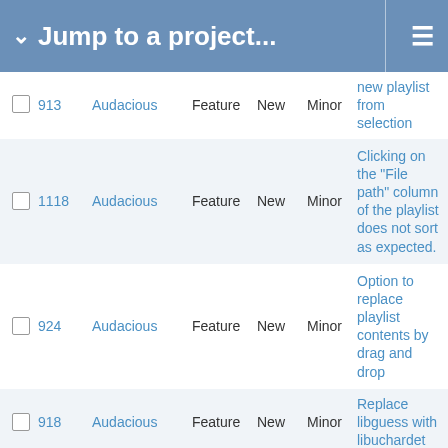Jump to a project...
|  | # | Project | Type | Status | Severity | Description |
| --- | --- | --- | --- | --- | --- | --- |
|  | 913 | Audacious | Feature | New | Minor | ...new playlist from selection |
|  | 1118 | Audacious | Feature | New | Minor | Clicking on the "File path" column of the playlist does not sort as expected. |
|  | 924 | Audacious | Feature | New | Minor | Option to replace playlist contents by drag and drop |
|  | 918 | Audacious | Feature | New | Minor | Replace libguess with libuchardet |
|  | 786 | Audacious | Feature | New | Minor | Port global hotkeys plugin to Windows |
|  | ... | ... | ... | ... | ... | Loop RSF... |